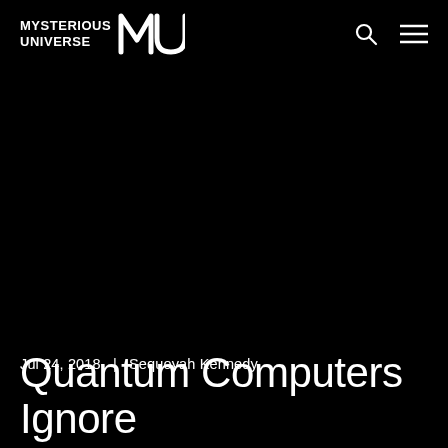MYSTERIOUS UNIVERSE MU
[Figure (photo): Large dark/black background hero image area]
Jul 24, 2018  |  Sequoyah Kennedy
Quantum Computers Ignore